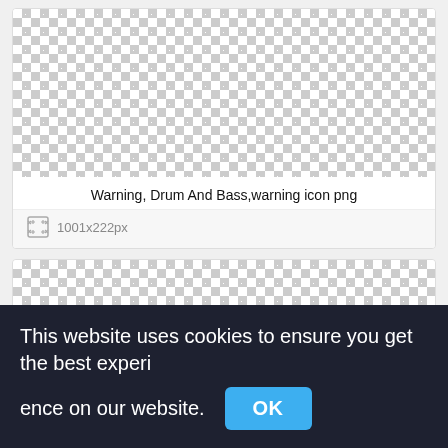[Figure (screenshot): Checkerboard transparent background placeholder image area for first card]
Warning, Drum And Bass,warning icon png
1001x222px
[Figure (screenshot): Checkerboard transparent background placeholder image area for second card]
This website uses cookies to ensure you get the best experience on our website.